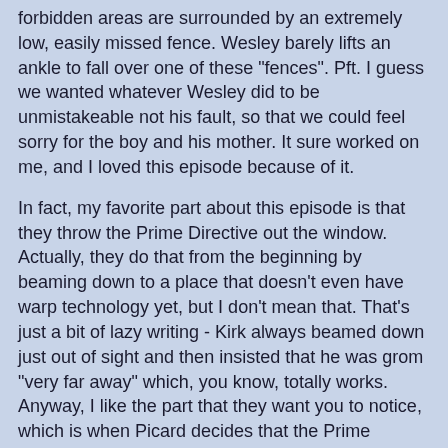forbidden areas are surrounded by an extremely low, easily missed fence. Wesley barely lifts an ankle to fall over one of these "fences". Pft. I guess we wanted whatever Wesley did to be unmistakeable not his fault, so that we could feel sorry for the boy and his mother. It sure worked on me, and I loved this episode because of it.
In fact, my favorite part about this episode is that they throw the Prime Directive out the window. Actually, they do that from the beginning by beaming down to a place that doesn't even have warp technology yet, but I don't mean that. That's just a bit of lazy writing - Kirk always beamed down just out of sight and then insisted that he was grom "very far away" which, you know, totally works. Anyway, I like the part that they want you to notice, which is when Picard decides that the Prime Directive can go cry in a corner if it means letting an innocent die. (Nevermind the probable murder of the Selay official in the last episode. He's not nearly as blameless as Wil Wheaton - I mean, Wesley.)
Data: Will you chose one life over one thousand, Sir?
Picard: I refuse to let arithmetic decide questions like that.